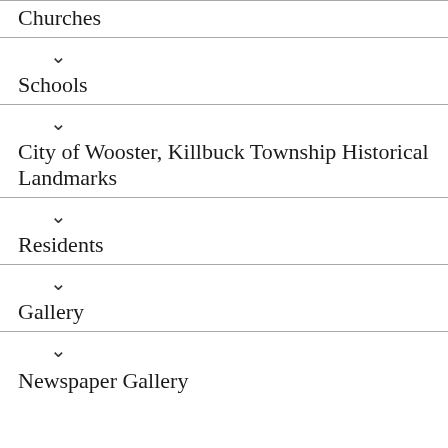Churches
Schools
City of Wooster, Killbuck Township Historical Landmarks
Residents
Gallery
Newspaper Gallery